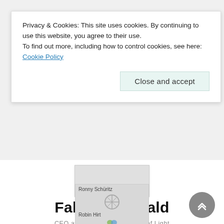Privacy & Cookies: This site uses cookies. By continuing to use this website, you agree to their use.
To find out more, including how to control cookies, see here: Cookie Policy
Close and accept
Fabian Seewald
CEO at DUNDU – The Giants of Light
[Figure (illustration): LinkedIn and home/website icons]
[Figure (photo): Ronny Schüritz profile image (loading)]
[Figure (photo): Robin Hirt profile image (loading)]
[Figure (other): Scroll to top circular button with upward chevrons]